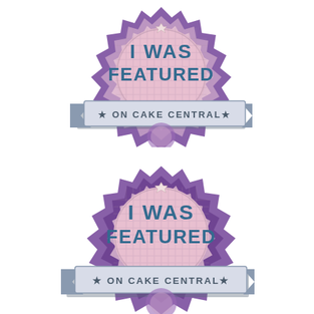[Figure (illustration): A decorative badge/seal with text 'I WAS FEATURED ON CAKE CENTRAL' in purple and blue colors with a star at the top, ribbon banner at the bottom, on a pink/purple medallion background]
[Figure (illustration): A second identical decorative badge/seal with text 'I WAS FEATURED ON CAKE CENTRAL' in purple and blue colors with a star at the top, ribbon banner at the bottom, on a pink/purple medallion background]